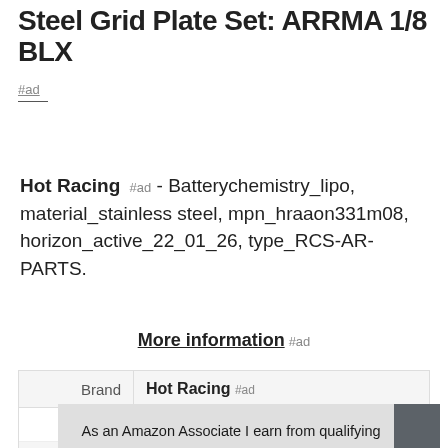Steel Grid Plate Set: ARRMA 1/8 BLX
#ad
Hot Racing #ad - Batterychemistry_lipo, material_stainless steel, mpn_hraaon331m08, horizon_active_22_01_26, type_RCS-AR-PARTS.
More information #ad
| Brand | Hot Racing #ad |
| --- | --- |
| Ma |  |
|  |  |
|  |  |
As an Amazon Associate I earn from qualifying purchases. This website uses the only necessary cookies to ensure you get the best experience on our website. More information